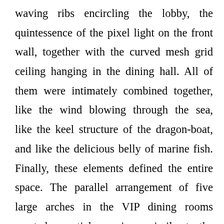waving ribs encircling the lobby, the quintessence of the pixel light on the front wall, together with the curved mesh grid ceiling hanging in the dining hall. All of them were intimately combined together, like the wind blowing through the sea, like the keel structure of the dragon-boat, and like the delicious belly of marine fish. Finally, these elements defined the entire space. The parallel arrangement of five large arches in the VIP dining rooms created a spatial experience similar to the cabin on a boat. The lavatory is hidden behind five